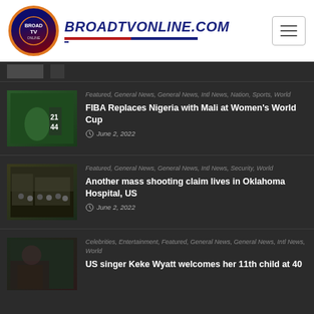BROADTVONLINE.COM
[Figure (screenshot): Partially visible news item thumbnail at top]
Featured, General News, General News, Intl News, Nation, Sports, World — FIBA Replaces Nigeria with Mali at Women's World Cup — June 2, 2022
Featured, General News, General News, Intl News, Security, World — Another mass shooting claim lives in Oklahoma Hospital, US — June 2, 2022
Celebrities, Entertainment, Featured, General News, General News, Intl News, World — US singer Keke Wyatt welcomes her 11th child at 40